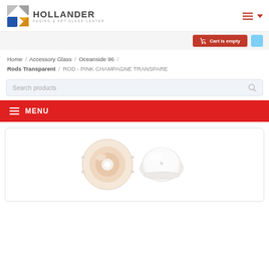[Figure (logo): Hollander Fusing & Art Glass Center logo with geometric icon]
Cart is empty
Home / Accessory Glass / Oceanside 96 / Rods Transparent / ROD - PINK CHAMPAGNE TRANSPARE
Search products
MENU
[Figure (photo): Two glass rod items shown: one with pinkish-orange hue (disk shaped) and one white/translucent (dome shaped) — product photo for Pink Champagne Transparent glass rods]